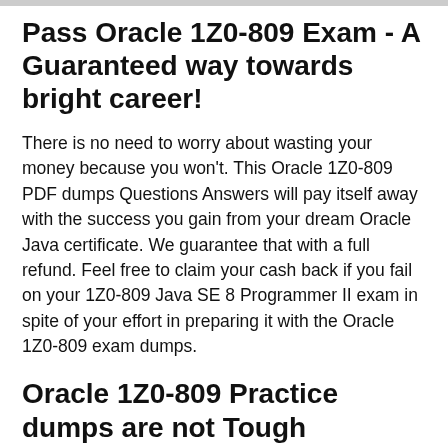Pass Oracle 1Z0-809 Exam - A Guaranteed way towards bright career!
There is no need to worry about wasting your money because you won't. This Oracle 1Z0-809 PDF dumps Questions Answers will pay itself away with the success you gain from your dream Oracle Java certificate. We guarantee that with a full refund. Feel free to claim your cash back if you fail on your 1Z0-809 Java SE 8 Programmer II exam in spite of your effort in preparing it with the Oracle 1Z0-809 exam dumps.
Oracle 1Z0-809 Practice dumps are not Tough Anymore!